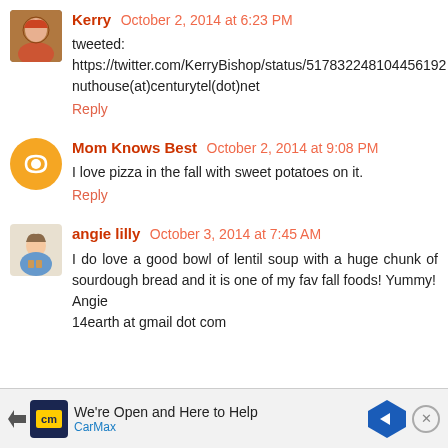Kerry  October 2, 2014 at 6:23 PM
tweeted:
https://twitter.com/KerryBishop/status/517832248104456192
nuthouse(at)centurytel(dot)net
Reply
Mom Knows Best  October 2, 2014 at 9:08 PM
I love pizza in the fall with sweet potatoes on it.
Reply
angie lilly  October 3, 2014 at 7:45 AM
I do love a good bowl of lentil soup with a huge chunk of sourdough bread and it is one of my fav fall foods! Yummy!
Angie
14earth at gmail dot com
[Figure (infographic): CarMax advertisement banner: We're Open and Here to Help, with CarMax logo and arrow icon]